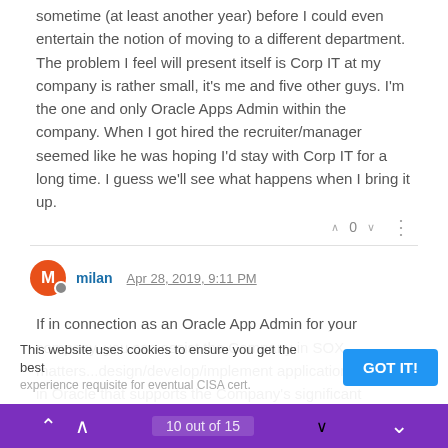sometime (at least another year) before I could even entertain the notion of moving to a different department.
The problem I feel will present itself is Corp IT at my company is rather small, it's me and five other guys. I'm the one and only Oracle Apps Admin within the company. When I got hired the recruiter/manager seemed like he was hoping I'd stay with Corp IT for a long time. I guess we'll see what happens when I bring it up.
^ 0 v ...
milan  Apr 28, 2019, 9:11 PM
If in connection as an Oracle App Admin for your company, you can assist the Company in SOX matters...design/develop/implement application controls in Oracle that supports the Company's significant business processes, you will be able to remain within IT, yet g... experience requisite for eventual CISA cert.
This website uses cookies to ensure you get the best
GOT IT!
10 out of 15